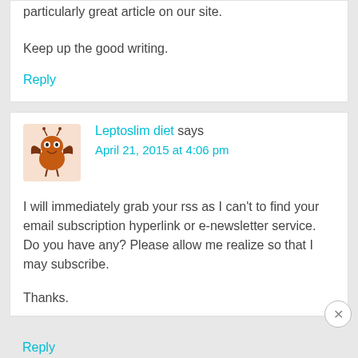particularly great article on our site.
Keep up the good writing.
Reply
Leptoslim diet says April 21, 2015 at 4:06 pm
I will immediately grab your rss as I can't to find your email subscription hyperlink or e-newsletter service. Do you have any? Please allow me realize so that I may subscribe.
Thanks.
Reply